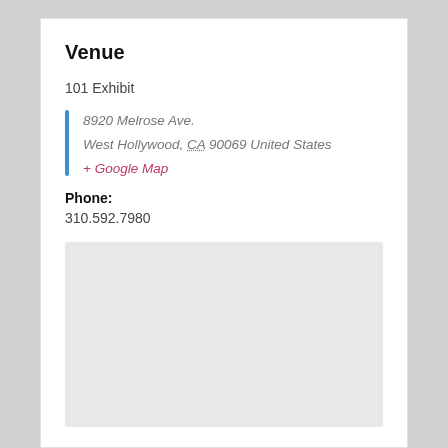Venue
101 Exhibit
8920 Melrose Ave.
West Hollywood, CA 90069 United States
+ Google Map
Phone:
310.592.7980
[Figure (map): Gray placeholder map area]